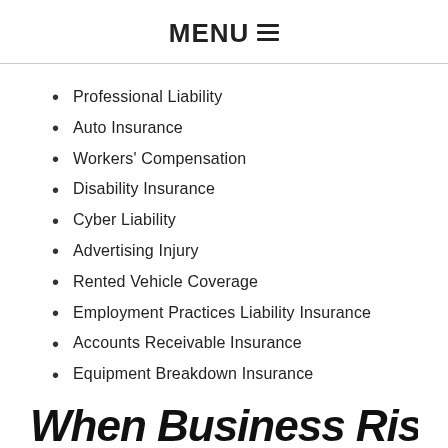MENU ☰
Professional Liability
Auto Insurance
Workers' Compensation
Disability Insurance
Cyber Liability
Advertising Injury
Rented Vehicle Coverage
Employment Practices Liability Insurance
Accounts Receivable Insurance
Equipment Breakdown Insurance
When Business Risk...